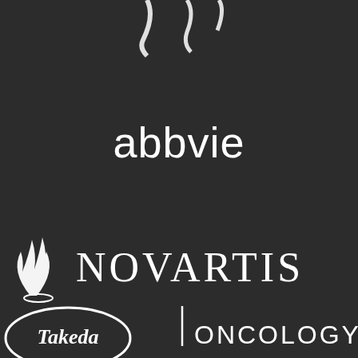[Figure (logo): Partial pharmaceutical company logo at top center, white on dark background, partially cropped]
[Figure (logo): AbbVie pharmaceutical company logo in white text on dark background]
[Figure (logo): Novartis pharmaceutical company logo with flame/torch icon in white on dark background]
[Figure (logo): Takeda pharmaceutical company logo partially visible at bottom left]
[Figure (logo): Oncology text/logo partially visible at bottom right]